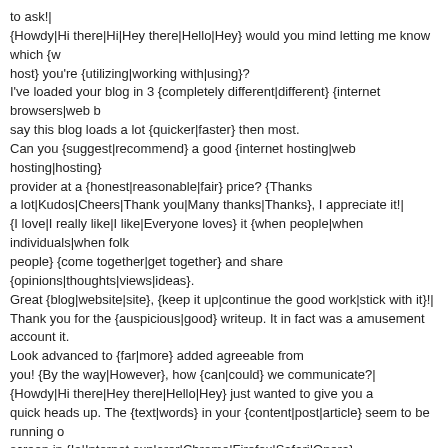to ask!|
{Howdy|Hi there|Hi|Hey there|Hello|Hey} would you mind letting me know which {w host} you're {utilizing|working with|using}?
I've loaded your blog in 3 {completely different|different} {internet browsers|web b say this blog loads a lot {quicker|faster} then most.
Can you {suggest|recommend} a good {internet hosting|web hosting|hosting} provider at a {honest|reasonable|fair} price? {Thanks a lot|Kudos|Cheers|Thank you|Many thanks|Thanks}, I appreciate it!|
{I love|I really like|I like|Everyone loves} it {when people|when individuals|when folk people} {come together|get together} and share {opinions|thoughts|views|ideas}. Great {blog|website|site}, {keep it up|continue the good work|stick with it}!|
Thank you for the {auspicious|good} writeup. It in fact was a amusement account it. Look advanced to {far|more} added agreeable from you! {By the way|However}, how {can|could} we communicate?|
{Howdy|Hi there|Hey there|Hello|Hey} just wanted to give you a quick heads up. The {text|words} in your {content|post|article} seem to be running o screen in {Ie|Internet explorer|Chrome|Firefox|Safari|Opera}.

I'm not sure if this is a {format|formatting} issue or something to do with {web brow compatibility but
I {thought|figured} I'd post to let you know. The {style and design|design and style|layout|design} look great though!
Hope you get the {problem|issue} {solved|resolved|fixed} soon.
{Kudos|Cheers|Many thanks|Thanks}|